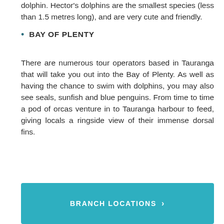dolphin. Hector's dolphins are the smallest species (less than 1.5 metres long), and are very cute and friendly.
BAY OF PLENTY
There are numerous tour operators based in Tauranga that will take you out into the Bay of Plenty. As well as having the chance to swim with dolphins, you may also see seals, sunfish and blue penguins. From time to time a pod of orcas venture in to Tauranga harbour to feed, giving locals a ringside view of their immense dorsal fins.
BRANCH LOCATIONS